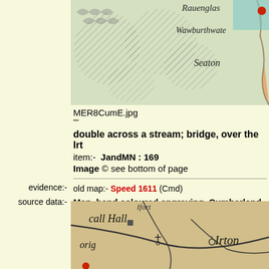[Figure (map): Old map excerpt showing place names including Rauenglas, Wawburthwate, Seaton in decorative engraving style with hatching]
MER8CumE.jpg
""
double across a stream; bridge, over the Irt
item:-  JandMN : 169
Image © see bottom of page
evidence:-  old map:- Speed 1611 (Cmd)
source data:-  Map, hand coloured engraving, Cumberland and t... about 4 miles to 1 inch, by John Speed, 1610, publ... Popes Head Alley, London, 1611-12.
[Figure (map): Old map excerpt showing place names call Hall, orig, Irton, with roads and settlements depicted in engraving style]